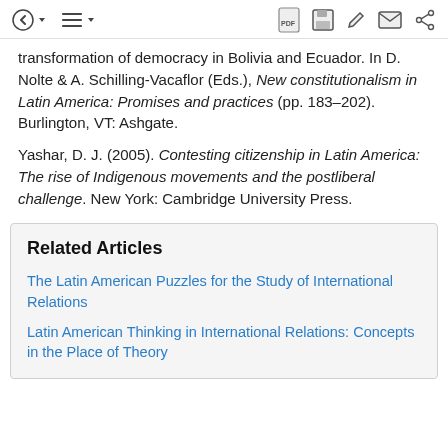toolbar with navigation icons
transformation of democracy in Bolivia and Ecuador. In D. Nolte & A. Schilling-Vacaflor (Eds.), New constitutionalism in Latin America: Promises and practices (pp. 183–202). Burlington, VT: Ashgate.
Yashar, D. J. (2005). Contesting citizenship in Latin America: The rise of Indigenous movements and the postliberal challenge. New York: Cambridge University Press.
Related Articles
The Latin American Puzzles for the Study of International Relations
Latin American Thinking in International Relations: Concepts in the Place of Theory